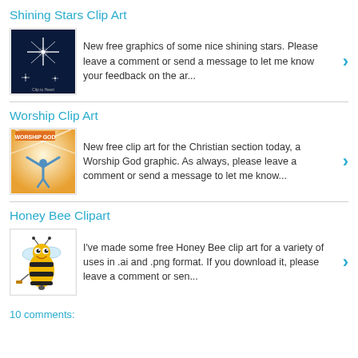Shining Stars Clip Art
[Figure (illustration): Dark blue background with shining white star graphic, clip art thumbnail]
New free graphics of some nice shining stars. Please leave a comment or send a message to let me know your feedback on the ar...
Worship Clip Art
[Figure (illustration): Worship God graphic showing person with arms raised in rays of light]
New free clip art for the Christian section today, a Worship God graphic. As always, please leave a comment or send a message to let me know...
Honey Bee Clipart
[Figure (illustration): Cartoon honey bee clip art graphic]
I've made some free Honey Bee clip art for a variety of uses in .ai and .png format. If you download it, please leave a comment or sen...
10 comments: